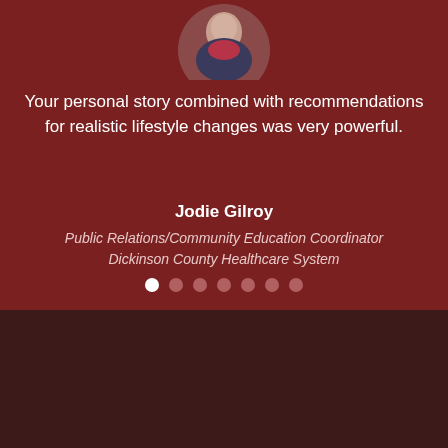[Figure (photo): Circular cropped photo of a person wearing a red/pink scarf against a dark background, partially visible at the top of the page]
Your personal story combined with recommendations for realistic lifestyle changes was very powerful.
Jodie Gilroy
Public Relations/Community Education Coordinator
Dickinson County Healthcare System
[Figure (infographic): Carousel navigation dots: one white filled dot and six dark dots]
[Figure (logo): Embrace Your Heart Wellness Initiative logo with a stylized red heart icon]
Email: eliz@embraceyourheart.com